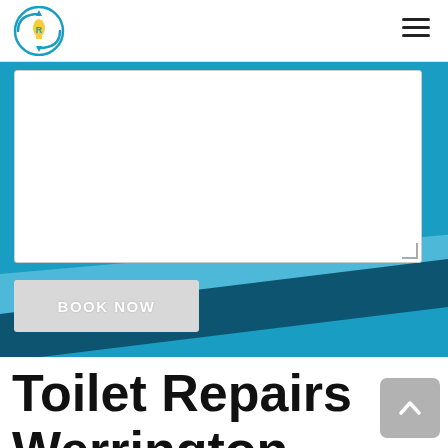[Figure (screenshot): Website screenshot showing a booking form section with a text area and BOOK NOW button on a blue background, followed by a large heading 'Toilet Repairs Werrington' on white background]
Toilet Repairs Werrington